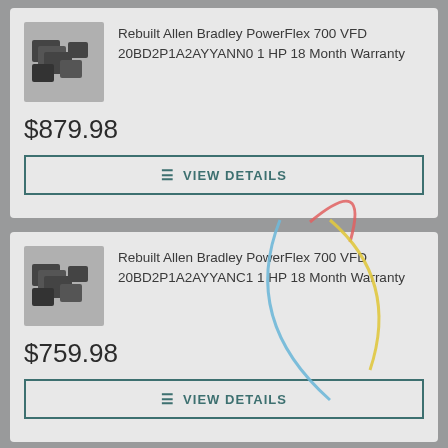Rebuilt Allen Bradley PowerFlex 700 VFD 20BD2P1A2AYYANN0 1 HP 18 Month Warranty
$879.98
≡ VIEW DETAILS
Rebuilt Allen Bradley PowerFlex 700 VFD 20BD2P1A2AYYANC1 1 HP 18 Month Warranty
$759.98
≡ VIEW DETAILS